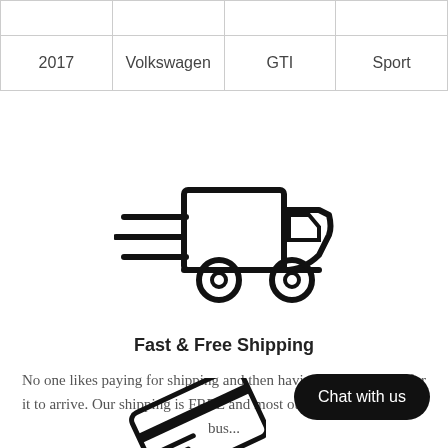|  |  |  |  |
| 2017 | Volkswagen | GTI | Sport |
[Figure (illustration): Fast delivery truck icon with speed lines on the left side, black outline style]
Fast & Free Shipping
No one likes paying for shipping and then having to wait weeks for it to arrive. Our shipping is FREE and most our orders arrive in 3-5 bus...
[Figure (illustration): Credit card icon partially visible at bottom of page]